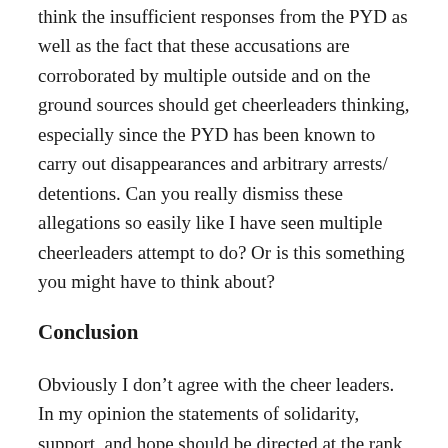think the insufficient responses from the PYD as well as the fact that these accusations are corroborated by multiple outside and on the ground sources should get cheerleaders thinking, especially since the PYD has been known to carry out disappearances and arbitrary arrests/ detentions. Can you really dismiss these allegations so easily like I have seen multiple cheerleaders attempt to do? Or is this something you might have to think about?
Conclusion
Obviously I don’t agree with the cheer leaders. In my opinion the statements of solidarity, support, and hope should be directed at the rank and file struggle that has made the resistance in Kobane. It is the actions of these people alone that has created such a resistance. Groups such as the PKK, HDP, and PYD only serve to